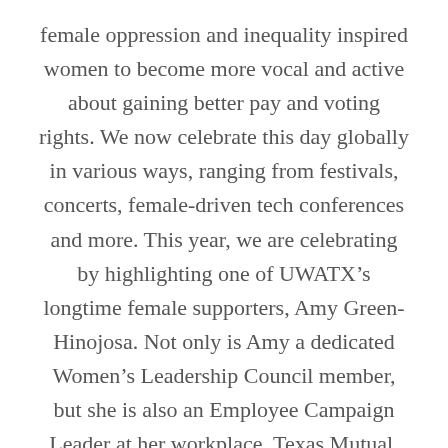female oppression and inequality inspired women to become more vocal and active about gaining better pay and voting rights. We now celebrate this day globally in various ways, ranging from festivals, concerts, female-driven tech conferences and more. This year, we are celebrating by highlighting one of UWATX’s longtime female supporters, Amy Green-Hinojosa. Not only is Amy a dedicated Women’s Leadership Council member, but she is also an Employee Campaign Leader at her workplace, Texas Mutual. As an Employee Campaign Leader, Amy plays a critical role in leading and inspiring her co-workers and employees to give back to our community through campaign. It is investors, volunteers and